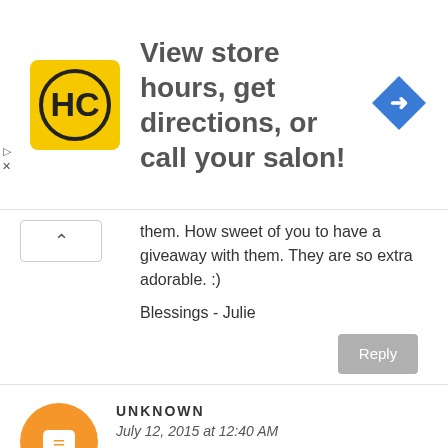[Figure (infographic): Advertisement banner: HC logo on yellow background, text 'View store hours, get directions, or call your salon!', blue diamond navigation arrow icon on right]
them. How sweet of you to have a giveaway with them. They are so extra adorable. :)
Blessings - Julie
Reply
[Figure (logo): Blogger avatar: orange circle with white 'B' icon]
UNKNOWN
July 12, 2015 at 12:40 AM
Adorable! Love them! :-)
Reply